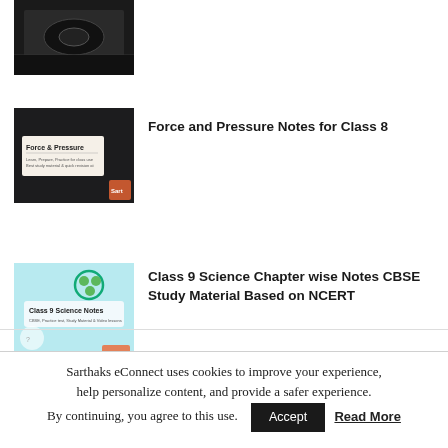[Figure (photo): Dark thumbnail image (partially visible at top)]
[Figure (screenshot): Thumbnail showing 'Force & Pressure' notes slide with dark background]
Force and Pressure Notes for Class 8
[Figure (screenshot): Thumbnail showing 'Class 9 Science Notes' with teal/light blue background]
Class 9 Science Chapter wise Notes CBSE Study Material Based on NCERT
[Figure (screenshot): Thumbnail showing 'Sound Notes Class 9' with dark background and yellow circle]
Sound Class 9 Notes, NCERT Physics Chapter 12
Sarthaks eConnect uses cookies to improve your experience, help personalize content, and provide a safer experience. By continuing, you agree to this use.